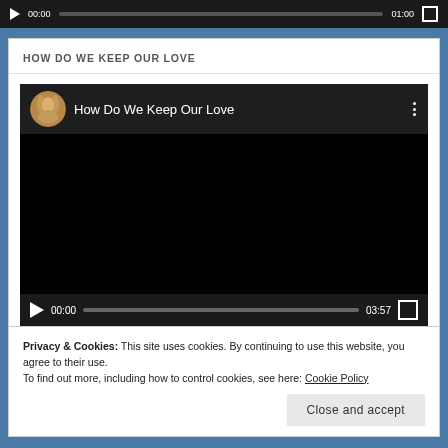[Figure (screenshot): Top portion of a video player (partially visible) showing a dark control bar with play button, time 00:00, progress bar, and 01:00 end time with fullscreen icon]
HOW DO WE KEEP OUR LOVE
[Figure (screenshot): Embedded YouTube-style video player showing 'How Do We Keep Our Love' with a blonde woman's avatar, black video area, and controls showing 00:00 / 03:57]
Privacy & Cookies: This site uses cookies. By continuing to use this website, you agree to their use.
To find out more, including how to control cookies, see here: Cookie Policy
Close and accept